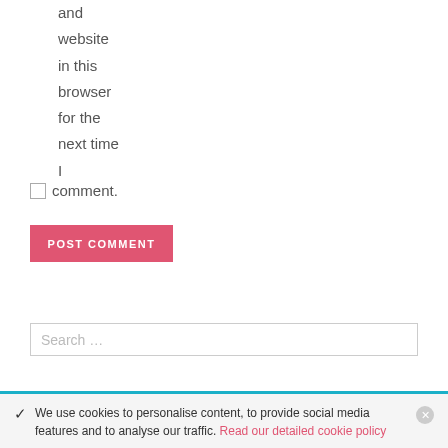and website in this browser for the next time I
comment.
POST COMMENT
Search ...
We use cookies to personalise content, to provide social media features and to analyse our traffic. Read our detailed cookie policy